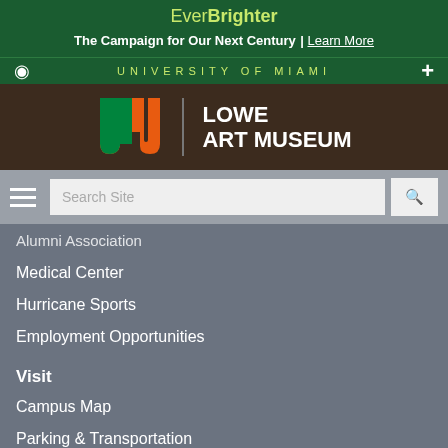EverBrighter
The Campaign for Our Next Century | Learn More
[Figure (logo): University of Miami navigation bar with eye icon, UNIVERSITY OF MIAMI text, and plus icon]
[Figure (logo): Lowe Art Museum logo with University of Miami U logo and text LOWE ART MUSEUM]
[Figure (screenshot): Search bar with hamburger menu icon, Search Site input field, and search button]
Alumni Association
Medical Center
Hurricane Sports
Employment Opportunities
Visit
Campus Map
Parking & Transportation
Connect
[Figure (infographic): Social media icons: Facebook, Twitter, YouTube, Instagram]